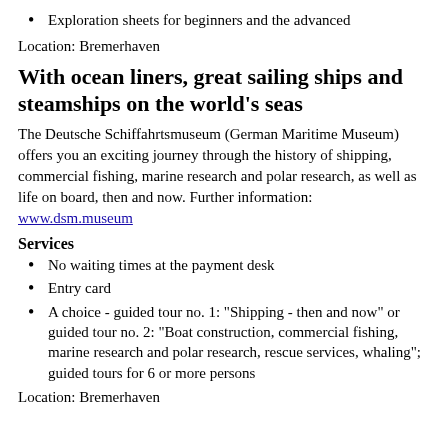Exploration sheets for beginners and the advanced
Location: Bremerhaven
With ocean liners, great sailing ships and steamships on the world's seas
The Deutsche Schiffahrtsmuseum (German Maritime Museum) offers you an exciting journey through the history of shipping, commercial fishing, marine research and polar research, as well as life on board, then and now. Further information: www.dsm.museum
Services
No waiting times at the payment desk
Entry card
A choice - guided tour no. 1: "Shipping - then and now" or guided tour no. 2: "Boat construction, commercial fishing, marine research and polar research, rescue services, whaling"; guided tours for 6 or more persons
Location: Bremerhaven